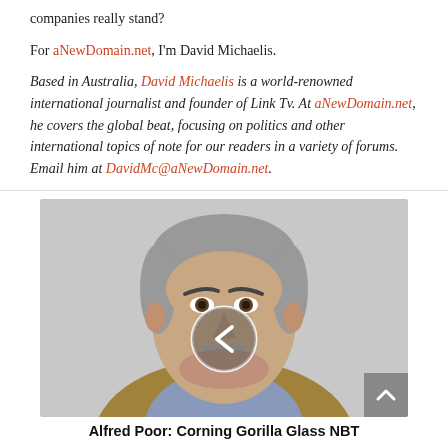companies really stand?
For aNewDomain.net, I'm David Michaelis.
Based in Australia, David Michaelis is a world-renowned international journalist and founder of Link Tv. At aNewDomain.net, he covers the global beat, focusing on politics and other international topics of note for our readers in a variety of forums. Email him at DavidMc@aNewDomain.net.
[Figure (photo): Portrait photo of a middle-aged man with grey hair and a grey mustache, wearing a tan jacket and blue shirt. A white circular left-arrow navigation button overlays the center of the image.]
Alfred Poor: Corning Gorilla Glass NBT